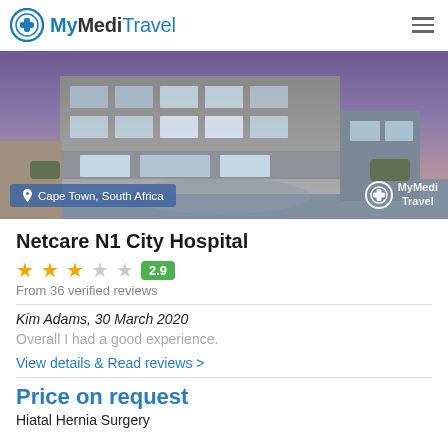MyMediTravel
[Figure (photo): Exterior photo of Netcare N1 City Hospital building at dusk with glass windows and landscaping, with location badge 'Cape Town, South Africa' and MyMediTravel watermark logo]
Netcare N1 City Hospital
2.9 rating, From 36 verified reviews
Kim Adams, 30 March 2020
Overall I had a good experience.
View details & Read reviews >
Price on request
Hiatal Hernia Surgery